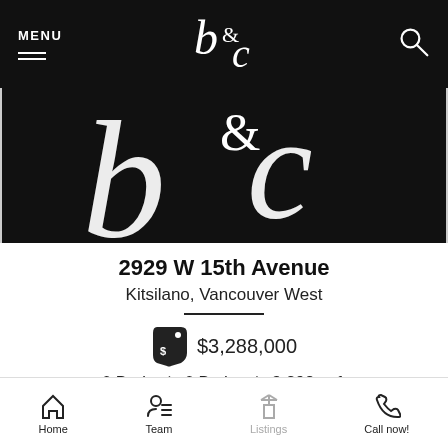MENU | b&c logo | search icon
[Figure (logo): Large b&c logo on black background hero image]
2929 W 15th Avenue
Kitsilano, Vancouver West
$3,288,000
6 Beds | 6 Baths | 3,298 sqft
Listed by Team 3000 Realty Ltd..
Home | Team | Listings | Call now!